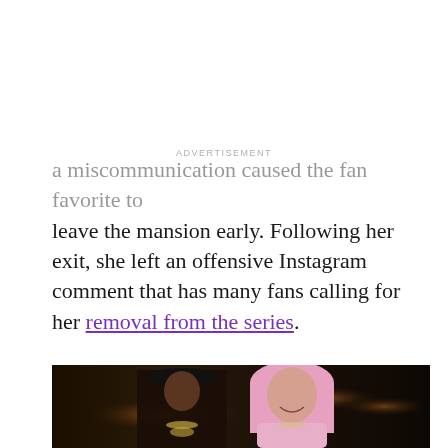ADVERTISEMENT
a miscommunication caused the fan favorite to leave the mansion early. Following her exit, she left an offensive Instagram comment that has many fans calling for her removal from the series.
[Figure (photo): A man wearing a black cap and chains standing next to a woman with pink hair, both smiling, in a dimly lit restaurant or event venue.]